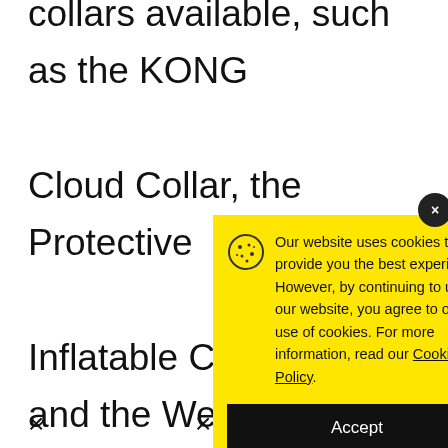collars available, such as the KONG Cloud Collar, the Protective Inflatable Cone Collar and the Well Good. Si... plastic e... is made... more fle... comforta...
[Figure (screenshot): Cookie consent popup overlay with yellow background. Contains cookie icon, text about website cookie usage, a link to Cookie Policy, and a black Accept button. Has a dark close button in top right corner.]